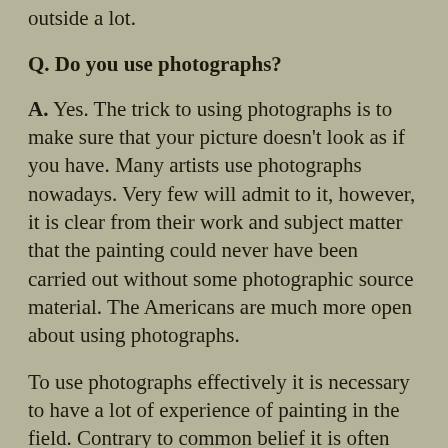outside a lot.
Q. Do you use photographs?
A. Yes. The trick to using photographs is to make sure that your picture doesn't look as if you have. Many artists use photographs nowadays. Very few will admit to it, however, it is clear from their work and subject matter that the painting could never have been carried out without some photographic source material. The Americans are much more open about using photographs.
To use photographs effectively it is necessary to have a lot of experience of painting in the field. Contrary to common belief it is often harder to paint from a photograph than directly in front of nature. This is because photographs don't give the sort of visual